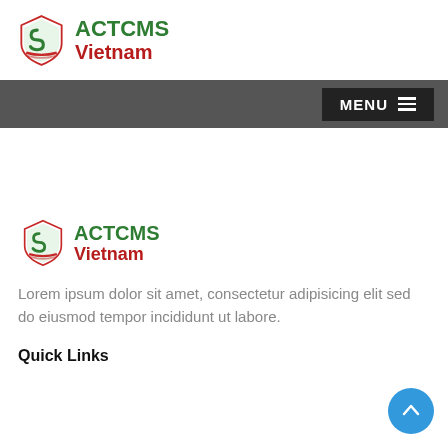[Figure (logo): ACTCMS Vietnam logo in header — shield icon with green S and red ribbon, green ACTCMS text, red Vietnam text]
MENU ≡
[Figure (logo): ACTCMS Vietnam logo in footer section — shield icon with green S and red ribbon, green ACTCMS text, red Vietnam text]
Lorem ipsum dolor sit amet, consectetur adipisicing elit sed do eiusmod tempor incididunt ut labore.
Quick Links